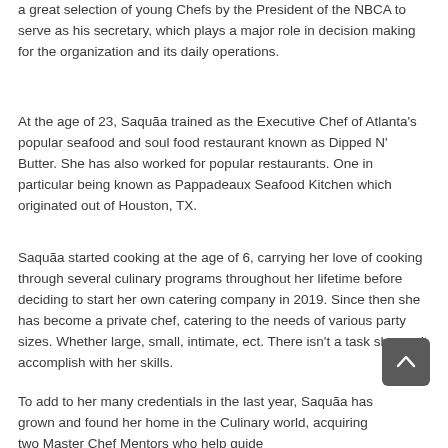a great selection of young Chefs by the President of the NBCA to serve as his secretary, which plays a major role in decision making for the organization and its daily operations.
At the age of 23, Saquãa trained as the Executive Chef of Atlanta's popular seafood and soul food restaurant known as Dipped N' Butter. She has also worked for popular restaurants. One in particular being known as Pappadeaux Seafood Kitchen which originated out of Houston, TX.
Saquãa started cooking at the age of 6, carrying her love of cooking through several culinary programs throughout her lifetime before deciding to start her own catering company in 2019. Since then she has become a private chef, catering to the needs of various party sizes. Whether large, small, intimate, ect. There isn't a task she can't accomplish with her skills.
To add to her many credentials in the last year, Saquãa has grown and found her home in the Culinary world, acquiring two Master Chef Mentors who help guide...